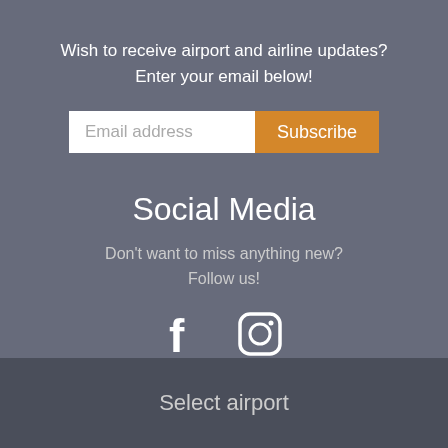Wish to receive airport and airline updates?
Enter your email below!
[Figure (screenshot): Email address input field with Subscribe button]
Social Media
Don't want to miss anything new?
Follow us!
[Figure (illustration): Facebook and Instagram social media icons]
Select airport